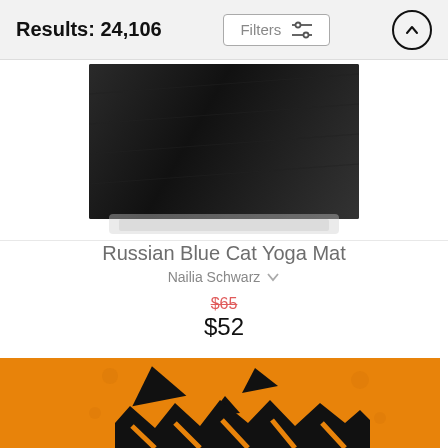Results: 24,106
[Figure (photo): Black textured yoga mat photo, top portion visible]
Russian Blue Cat Yoga Mat
Nailia Schwarz
$65 (strikethrough) $52
[Figure (illustration): Orange jack-o-lantern face illustration on orange background, showing triangular eyes and jagged mouth]